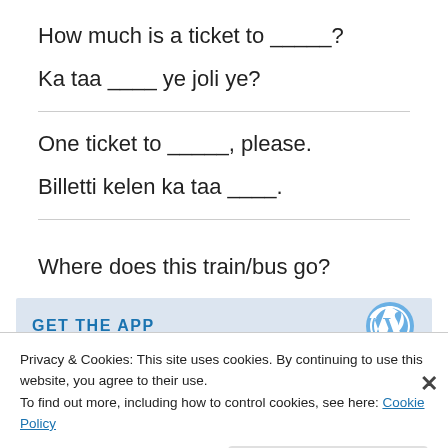How much is a ticket to _____?
Ka taa ____ ye joli ye?
One ticket to _____, please.
Billetti kelen ka taa ____.
Where does this train/bus go?
[Figure (screenshot): GET THE APP banner with WordPress logo]
Privacy & Cookies: This site uses cookies. By continuing to use this website, you agree to their use.
To find out more, including how to control cookies, see here: Cookie Policy
Close and accept